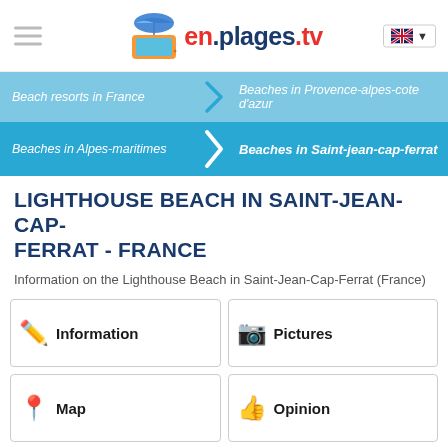[Figure (logo): en.plages.tv logo with TV and beach umbrella icon]
Beach resorts in France
Beaches in Provence-alpes-cote d'azur
Beaches in Alpes-maritimes
Beaches in Saint-jean-cap-ferrat
LIGHTHOUSE BEACH IN SAINT-JEAN-CAP-FERRAT - FRANCE
Information on the Lighthouse Beach in Saint-Jean-Cap-Ferrat (France)
Information
Pictures
Map
Opinion